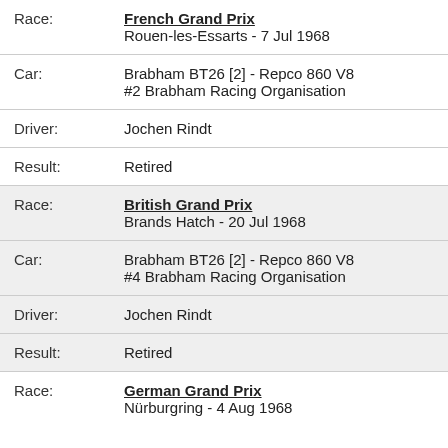| Field | Value |
| --- | --- |
| Race: | French Grand Prix
Rouen-les-Essarts - 7 Jul 1968 |
| Car: | Brabham BT26 [2] - Repco 860 V8
#2 Brabham Racing Organisation |
| Driver: | Jochen Rindt |
| Result: | Retired |
| Race: | British Grand Prix
Brands Hatch - 20 Jul 1968 |
| Car: | Brabham BT26 [2] - Repco 860 V8
#4 Brabham Racing Organisation |
| Driver: | Jochen Rindt |
| Result: | Retired |
| Race: | German Grand Prix
Nürburgring - 4 Aug 1968 |